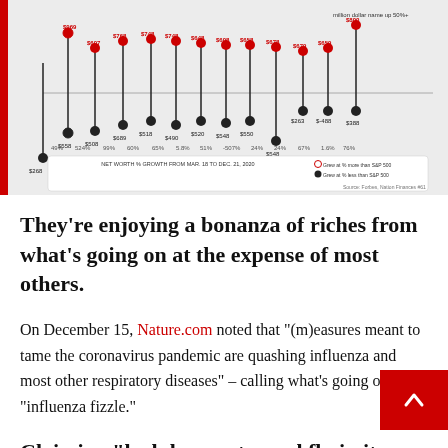[Figure (infographic): Partial view of a Forbes/Nation finances infographic showing stock or wealth data with labeled dot-and-line chart. Red and black dots on vertical lines with dollar values ($268, $558, $508, $689, $768, $748, $748, $648, $608, $658, $678, $659, $800, $518, $490, $528, $548, $558, $548, $488, $268, $388) and percentages (49%, 524%, 99%, 60%, 65%, 5.8%, 51%, -507%, 24%, 24%, 67%, 1.6%, 76%). Bottom section shows 'NET WORTH % GROWTH FROM MAR. 18 TO DEC. 21, 2020' legend. Source: Forbes, Nation Finances #61.]
They’re enjoying a bonanza of riches from what’s going on at the expense of most others.
On December 15, Nature.com noted that “(m)easures meant to tame the coronavirus pandemic are quashing influenza and most other respiratory diseases” – calling what’s going on the “influenza fizzle.”
Claiming “lockdowns stopped flu in its